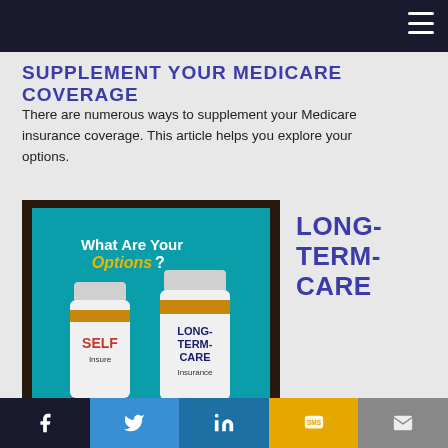SUPPLEMENT YOUR MEDICARE COVERAGE
There are numerous ways to supplement your Medicare insurance coverage. This article helps you explore your options.
[Figure (photo): Tablet showing 'What Are Your Options?' with two pill bottles labeled SELF Insure and LONG-TERM-CARE Insurance]
LONG-TERM-CARE
Social sharing bar: Facebook, Twitter, LinkedIn, SMS, Email